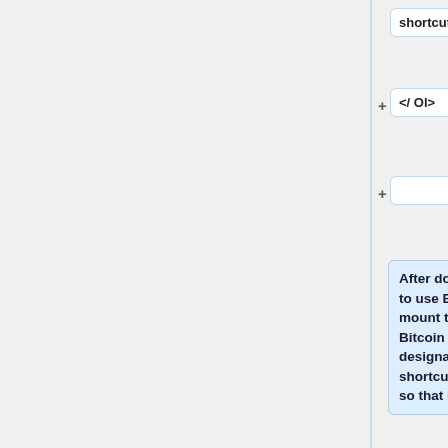shortcut. </ li>
</ Ol>
After doing this, any time you want to use Bitcoin, you must first mount the encrypted disk image Bitcoin using the same drive designation, and then run from the shortcut that you Bitcoin created so that it can find its